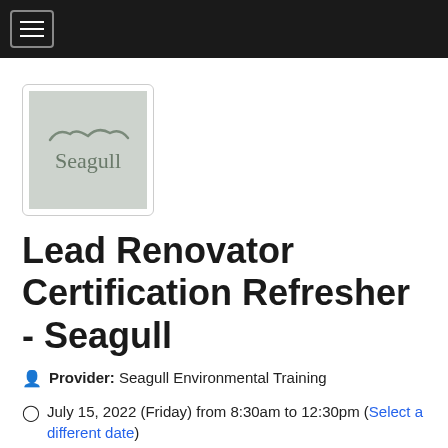Navigation menu
[Figure (logo): Seagull Environmental Training logo — stylized seagull silhouette above the word 'Seagull' on a light gray background]
Lead Renovator Certification Refresher - Seagull
Provider: Seagull Environmental Training
July 15, 2022 (Friday) from 8:30am to 12:30pm (Select a different date)
Orange Park, FL